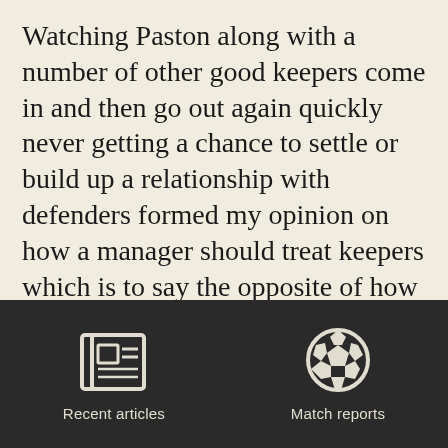Watching Paston along with a number of other good keepers come in and then go out again quickly never getting a chance to settle or build up a relationship with defenders formed my opinion on how a manager should treat keepers which is to say the opposite of how Paston was treated at Valley Parade.
Pick a keeper, give him games, back
[Figure (illustration): Dark footer bar with two icons: a newspaper/articles icon on the left labeled 'Recent articles', and a soccer ball icon on the right labeled 'Match reports']